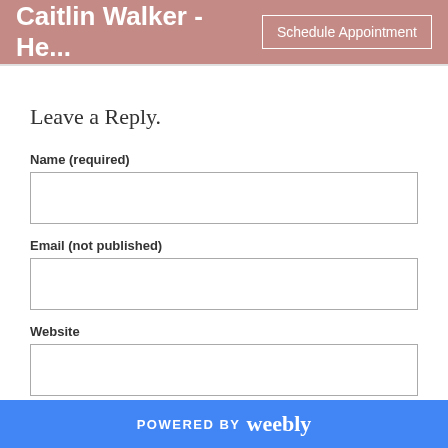Caitlin Walker - He...   Schedule Appointment
Leave a Reply.
Name (required)
Email (not published)
Website
Comments (required)
POWERED BY weebly